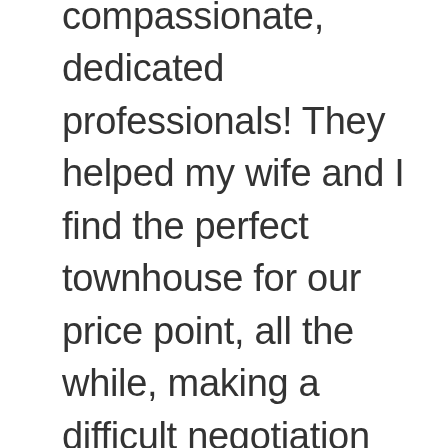compassionate, dedicated professionals! They helped my wife and I find the perfect townhouse for our price point, all the while, making a difficult negotiation look like a walk in the park. His team was incredibly proactive and provided crystal clear communication throughout